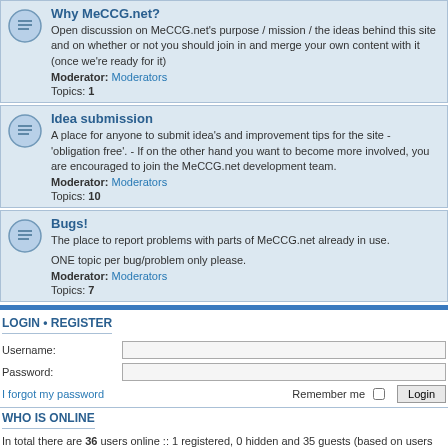Why MeCCG.net?
Open discussion on MeCCG.net's purpose / mission / the ideas behind this site and on whether or not you should join in and merge your own content with it (once we're ready for it)
Moderator: Moderators
Topics: 1
Idea submission
A place for anyone to submit idea's and improvement tips for the site - 'obligation free'. - If on the other hand you want to become more involved, you are encouraged to join the MeCCG.net development team.
Moderator: Moderators
Topics: 10
Bugs!
The place to report problems with parts of MeCCG.net already in use.

ONE topic per bug/problem only please.
Moderator: Moderators
Topics: 7
LOGIN • REGISTER
Username:
Password:
I forgot my password
Remember me  Login
WHO IS ONLINE
In total there are 36 users online :: 1 registered, 0 hidden and 35 guests (based on users active over the past 5 minutes)
Most users ever online was 1080 on Wed Feb 12, 2020 2:56 am